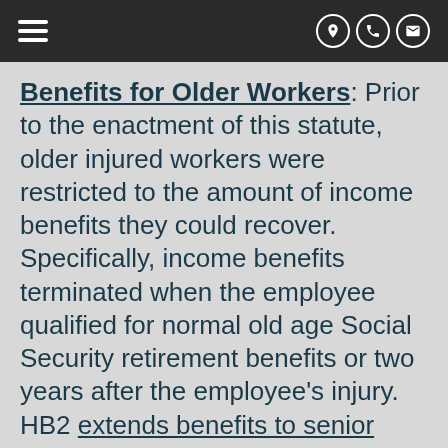[Navigation header with hamburger menu and contact icons]
Benefits for Older Workers: Prior to the enactment of this statute, older injured workers were restricted to the amount of income benefits they could recover. Specifically, income benefits terminated when the employee qualified for normal old age Social Security retirement benefits or two years after the employee's injury. HB2 extends benefits to senior workers to age 70 or 4 years after the